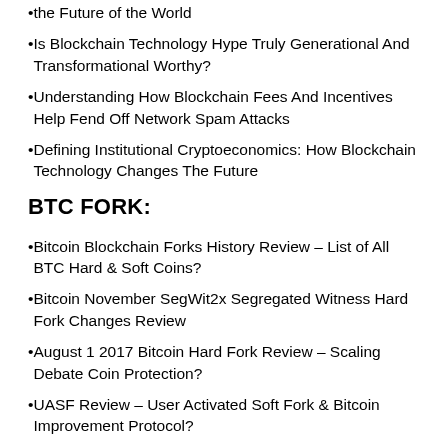the Future of the World
Is Blockchain Technology Hype Truly Generational And Transformational Worthy?
Understanding How Blockchain Fees And Incentives Help Fend Off Network Spam Attacks
Defining Institutional Cryptoeconomics: How Blockchain Technology Changes The Future
BTC FORK:
Bitcoin Blockchain Forks History Review – List of All BTC Hard & Soft Coins?
Bitcoin November SegWit2x Segregated Witness Hard Fork Changes Review
August 1 2017 Bitcoin Hard Fork Review – Scaling Debate Coin Protection?
UASF Review – User Activated Soft Fork & Bitcoin Improvement Protocol?